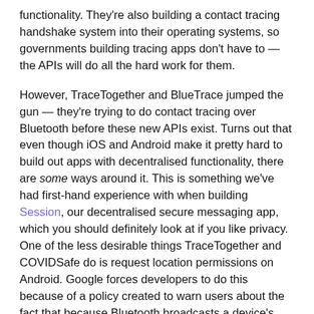functionality. They're also building a contact tracing handshake system into their operating systems, so governments building tracing apps don't have to — the APIs will do all the hard work for them.
However, TraceTogether and BlueTrace jumped the gun — they're trying to do contact tracing over Bluetooth before these new APIs exist. Turns out that even though iOS and Android make it pretty hard to build out apps with decentralised functionality, there are some ways around it. This is something we've had first-hand experience with when building Session, our decentralised secure messaging app, which you should definitely look at if you like privacy. One of the less desirable things TraceTogether and COVIDSafe do is request location permissions on Android. Google forces developers to do this because of a policy created to warn users about the fact that because Bluetooth broadcasts a device's MAC address, Bluetooth access could potentially be used to reveal your location to hypothetical 'beacons' in the area. This has been proven to be a very low-risk threat, but Google still requires that the user is warned regardless.